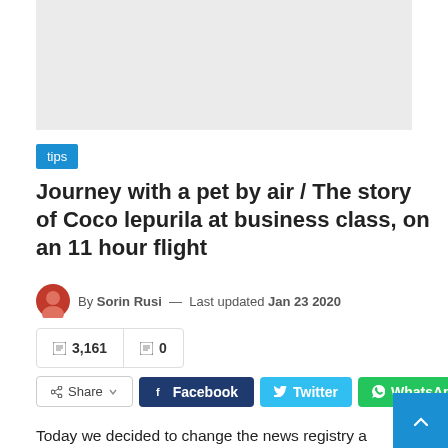[Figure (photo): Gray placeholder banner image at top of article]
tips
Journey with a pet by air / The story of Coco lepurila at business class, on an 11 hour flight
By Sorin Rusi — Last updated Jan 23 2020
3,161   0
Share   Facebook   Twitter   WhatsApp
Today we decided to change the news registry a little and tell you a little about the runaway and how you can travel with pets on the plane. But first of all, I'll tell